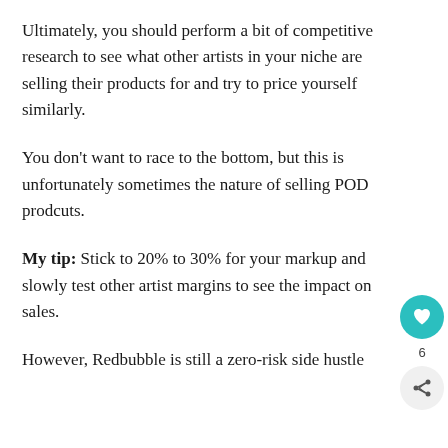Ultimately, you should perform a bit of competitive research to see what other artists in your niche are selling their products for and try to price yourself similarly.
You don't want to race to the bottom, but this is unfortunately sometimes the nature of selling POD prodcuts.
My tip: Stick to 20% to 30% for your markup and slowly test other artist margins to see the impact on sales.
However, Redbubble is still a zero-risk side hustle